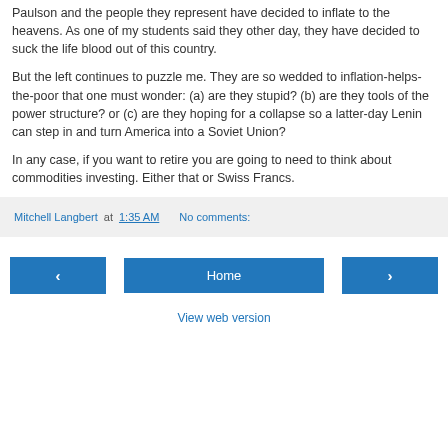Paulson and the people they represent have decided to inflate to the heavens. As one of my students said they other day, they have decided to suck the life blood out of this country.
But the left continues to puzzle me. They are so wedded to inflation-helps-the-poor that one must wonder: (a) are they stupid? (b) are they tools of the power structure? or (c) are they hoping for a collapse so a latter-day Lenin can step in and turn America into a Soviet Union?
In any case, if you want to retire you are going to need to think about commodities investing. Either that or Swiss Francs.
Mitchell Langbert at 1:35 AM   No comments:
‹  Home  ›  View web version